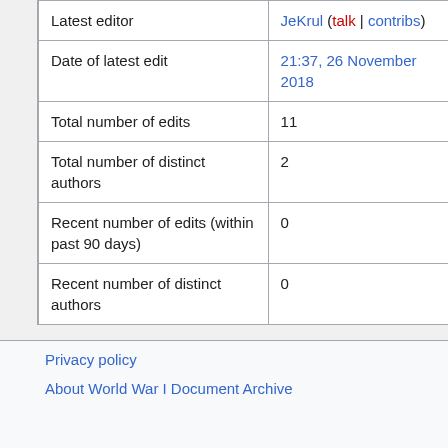|  |  |
| --- | --- |
| Latest editor | JeKrul (talk | contribs) |
| Date of latest edit | 21:37, 26 November 2018 |
| Total number of edits | 11 |
| Total number of distinct authors | 2 |
| Recent number of edits (within past 90 days) | 0 |
| Recent number of distinct authors | 0 |
Privacy policy
About World War I Document Archive